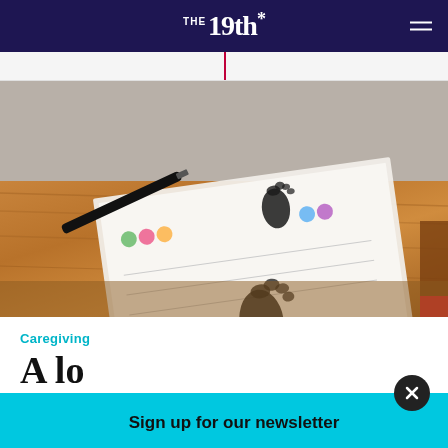THE 19th*
[Figure (photo): A baby footprint keepsake card with ink footprints on a wooden table, with a pen beside it]
Caregiving
A lo...
Sign up for our newsletter